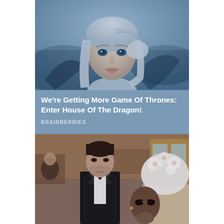[Figure (photo): Woman with platinum blonde hair and blue-tinted icy background, Game of Thrones style]
We're Getting More Game Of Thrones: Enter House Of The Dragon!
BRAINBERRIES
[Figure (photo): Man in tuxedo with bow tie and woman in bridal white floral headpiece at outdoor cafe]